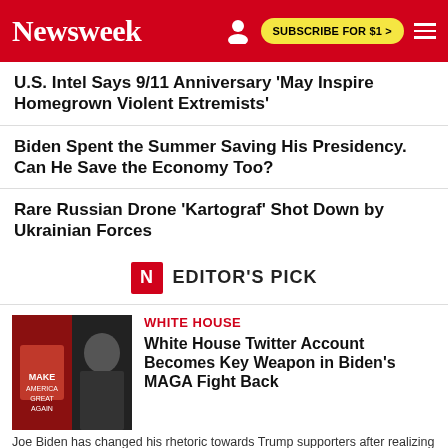Newsweek | SUBSCRIBE FOR $1 >
U.S. Intel Says 9/11 Anniversary 'May Inspire Homegrown Violent Extremists'
Biden Spent the Summer Saving His Presidency. Can He Save the Economy Too?
Rare Russian Drone 'Kartograf' Shot Down by Ukrainian Forces
EDITOR'S PICK
WHITE HOUSE
White House Twitter Account Becomes Key Weapon in Biden's MAGA Fight Back
Joe Biden has changed his rhetoric towards Trump supporters after realizing he can not win over the die-hards, according to some experts.
CLIMATE CHANGE